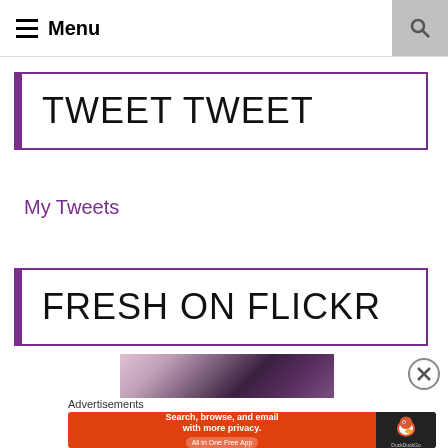Menu
TWEET TWEET
My Tweets
FRESH ON FLICKR
[Figure (photo): Partial dark-toned photo strip, appears to be a purple/dark background photo, partially visible]
Advertisements
[Figure (infographic): DuckDuckGo advertisement banner: Search, browse, and email with more privacy. All in One Free App. DuckDuckGo logo on right.]